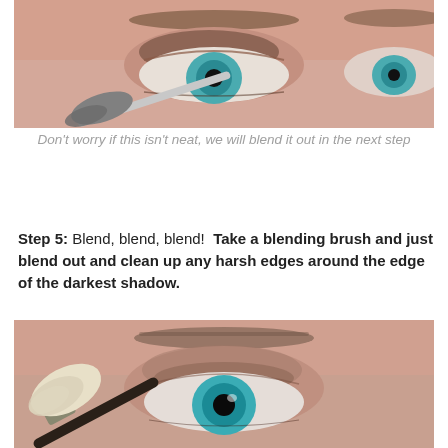[Figure (photo): Close-up photo of a woman's eye with blue iris, with a makeup brush applying eyeshadow to the eyelid. A partial view of the other eye is visible on the right.]
Don't worry if this isn't neat, we will blend it out in the next step
Step 5: Blend, blend, blend!  Take a blending brush and just blend out and clean up any harsh edges around the edge of the darkest shadow.
[Figure (photo): Close-up photo of a woman's eye with blue iris, with a large fluffy blending brush being used on the eyelid to blend out eyeshadow edges.]